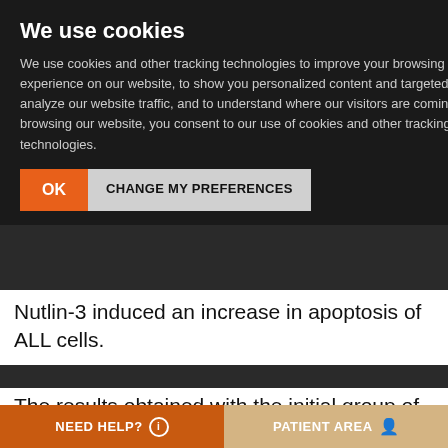We use cookies
We use cookies and other tracking technologies to improve your browsing experience on our website, to show you personalized content and targeted ads, to analyze our website traffic, and to understand where our visitors are coming from. By browsing our website, you consent to our use of cookies and other tracking technologies.
OK | CHANGE MY PREFERENCES
Nutlin-3 induced an increase in apoptosis of ALL cells.
The results obtained with the initial group of 48 patients was validated retrospectively in a second cohort of 200 newly diagnosed ALL patients. Methylation of at least 1 of the 13 genes implicated in the TP53 pathway was observed in 78% of the patients, which
NEED HELP?   PATIENT AREA